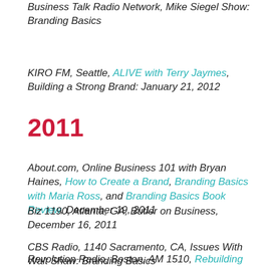Business Talk Radio Network, Mike Siegel Show: Branding Basics
KIRO FM, Seattle, ALIVE with Terry Jaymes, Building a Strong Brand: January 21, 2012
2011
About.com, Online Business 101 with Bryan Haines, How to Create a Brand, Branding Basics with Maria Ross, and Branding Basics Book Review, December 19, 2011
Biz 1190, Atlanta, GA, Butler on Business, December 16, 2011
CBS Radio, 1140 Sacramento, CA, Issues With Walt Shaw: Branding Basics
Revolution Radio, Boston, AM 1510, Rebuilding